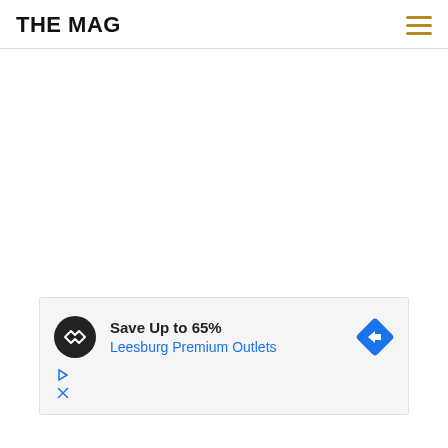THE MAG
[Figure (other): Hamburger menu icon with three horizontal golden/tan lines]
[Figure (infographic): Advertisement box: Save Up to 65% Leesburg Premium Outlets, with circular logo icon and blue arrow navigation icon]